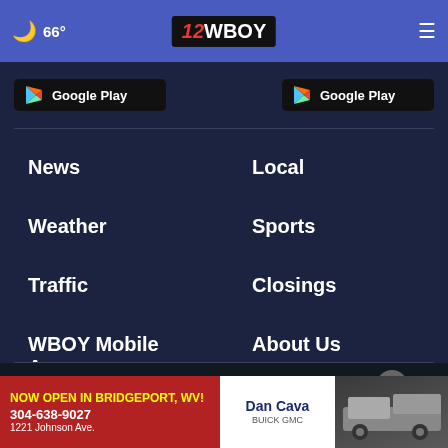66° | 12WBOY
[Figure (screenshot): Two Google Play store badge buttons side by side]
News
Local
Weather
Sports
Traffic
Closings
WBOY Mobile Apps
About Us
Contact Us | About Our Ads | EEO Report | Your Public File
[Figure (screenshot): Dan Cava Buick GMC advertisement banner: NOW OPEN IN BRIDGEPORT, WV! 304-638-9027, 1221 Johnson Ave.]